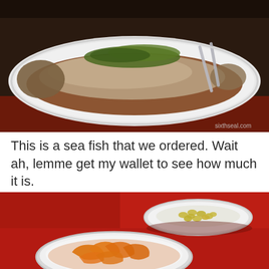[Figure (photo): A whole steamed sea fish on a white oval plate with brown sauce and green garnish, with serving utensils. Watermark: sixthseal.com in bottom right corner.]
This is a sea fish that we ordered. Wait ah, lemme get my wallet to see how much it is.
[Figure (photo): Two white plates on a red tablecloth. One plate contains yellowish-green edamame/beans. The other plate in the foreground contains sliced orange/yellow fruit pieces (likely papaya or mango) with sauce.]